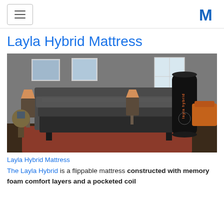[hamburger menu icon] [M logo]
Layla Hybrid Mattress
[Figure (photo): Layla Hybrid Mattress in a bedroom setting with grey upholstered bed frame, two lamps, artwork on wall, and black cylindrical packaging tube with 'layla hybrid' branding standing to the right of the bed on an orange rug.]
Layla Hybrid Mattress
The Layla Hybrid is a flippable mattress constructed with memory foam comfort layers and a pocketed coil